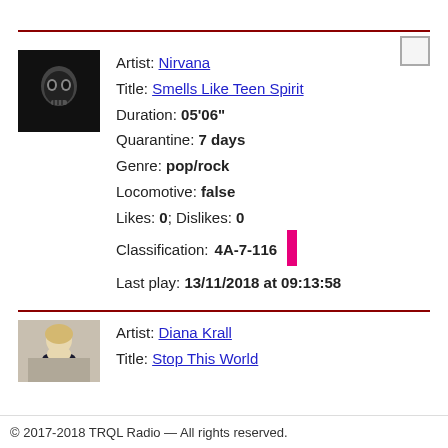Artist: Nirvana
Title: Smells Like Teen Spirit
Duration: 05'06"
Quarantine: 7 days
Genre: pop/rock
Locomotive: false
Likes: 0; Dislikes: 0
Classification: 4A-7-116
Last play: 13/11/2018 at 09:13:58
Artist: Diana Krall
Title: Stop This World
© 2017-2018 TRQL Radio — All rights reserved.